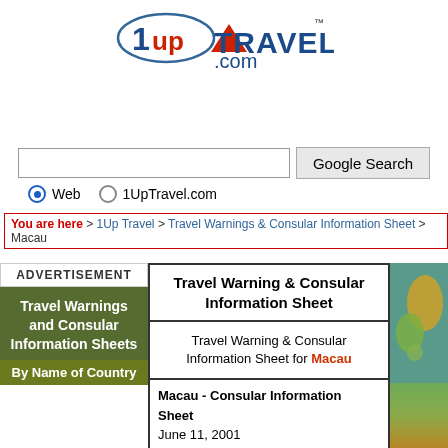[Figure (logo): 1up Travel.com logo with red triangle/mountain graphic]
[Figure (screenshot): Google Search bar with Web and 1UpTravel.com radio buttons]
You are here > 1Up Travel > Travel Warnings & Consular Information Sheet > Macau
ADVERTISEMENT
Travel Warnings and Consular Information Sheets By Name of Country
Travel Warning & Consular Information Sheet
Travel Warning & Consular Information Sheet for Macau
Macau - Consular Information Sheet
June 11, 2001